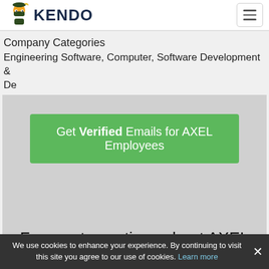[Figure (logo): Kendo logo with ninja character and bold KENDO text]
Company Categories
Engineering Software, Computer, Software Development & De
[Figure (other): Green button: Get Verified Emails for AXEL Employees]
Frequent questions about AXEL
We use cookies to enhance your experience. By continuing to visit this site you agree to our use of cookies. Learn more